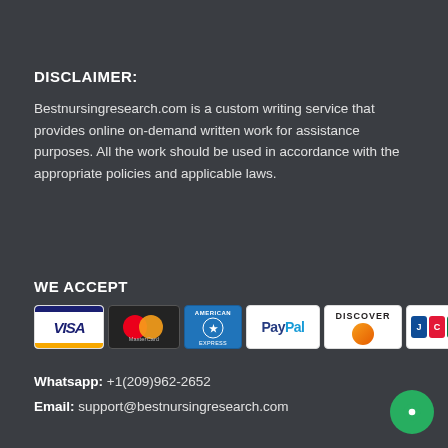DISCLAIMER:
Bestnursingresearch.com is a custom writing service that provides online on-demand written work for assistance purposes. All the work should be used in accordance with the appropriate policies and applicable laws.
WE ACCEPT
[Figure (logo): Payment method logos: VISA, MasterCard, American Express, PayPal, Discover, JCB]
Whatsapp: +1(209)962-2652
Email: support@bestnursingresearch.com